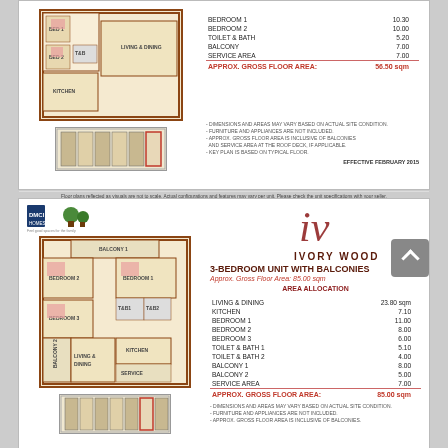[Figure (engineering-diagram): Top unit floor plan: 2-bedroom layout with living & dining, kitchen, balcony, toilet & bath. Cream/beige interior with brown border walls.]
| ROOM | AREA |
| --- | --- |
| BEDROOM 1 | 10.30 |
| BEDROOM 2 | 10.00 |
| TOILET & BATH | 5.20 |
| BALCONY | 7.00 |
| SERVICE AREA | 7.00 |
| APPROX. GROSS FLOOR AREA: | 56.50 sqm |
- DIMENSIONS AND AREAS MAY VARY BASED ON ACTUAL SITE CONDITION. - FURNITURE AND APPLIANCES ARE NOT INCLUDED. - APPROX. GROSS FLOOR AREA IS INCLUSIVE OF BALCONIES AND SERVICE AREA AT THE ROOF DECK, IF APPLICABLE. - KEY PLAN IS BASED ON TYPICAL FLOOR.
EFFECTIVE FEBRUARY 2015
Floor plans reflected as visuals are not to scale. Actual configurations and features may vary per unit. Please check the unit specifications with your seller.
[Figure (logo): DMCI Homes logo with tree icon and tagline]
[Figure (illustration): Ivory Wood script logo with stylized i/v letterform]
[Figure (engineering-diagram): Bottom unit floor plan: 3-bedroom layout with 2 balconies, 2 toilet & bath, kitchen, living & dining. Cream/beige with brown border walls.]
3-BEDROOM UNIT WITH BALCONIES
Approx. Gross Floor Area: 85.00 sqm
AREA ALLOCATION
| ROOM | AREA |
| --- | --- |
| LIVING & DINING | 23.80 sqm |
| KITCHEN | 7.10 |
| BEDROOM 1 | 11.00 |
| BEDROOM 2 | 8.00 |
| BEDROOM 3 | 6.00 |
| TOILET & BATH 1 | 5.10 |
| TOILET & BATH 2 | 4.00 |
| BALCONY 1 | 8.00 |
| BALCONY 2 | 5.00 |
| SERVICE AREA | 7.00 |
| APPROX. GROSS FLOOR AREA: | 85.00 sqm |
- DIMENSIONS AND AREAS MAY VARY BASED ON ACTUAL SITE CONDITION. - FURNITURE AND APPLIANCES ARE NOT INCLUDED. - APPROX. GROSS FLOOR AREA IS INCLUSIVE OF BALCONIES.